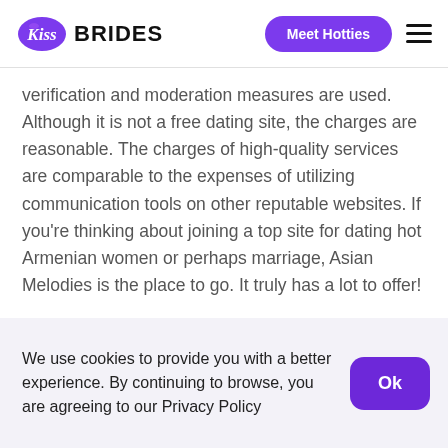Kiss Brides — Meet Hotties
verification and moderation measures are used. Although it is not a free dating site, the charges are reasonable. The charges of high-quality services are comparable to the expenses of utilizing communication tools on other reputable websites. If you're thinking about joining a top site for dating hot Armenian women or perhaps marriage, Asian Melodies is the place to go. It truly has a lot to offer!
3. AsianFeels
Pros
We use cookies to provide you with a better experience. By continuing to browse, you are agreeing to our Privacy Policy